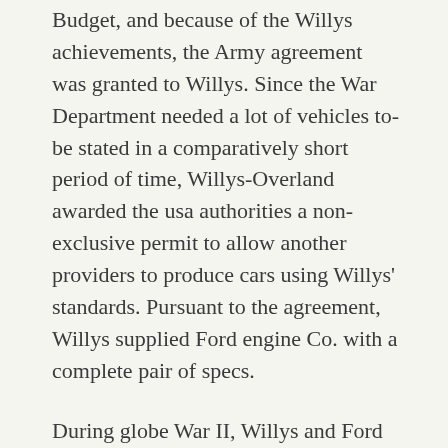Budget, and because of the Willys achievements, the Army agreement was granted to Willys. Since the War Department needed a lot of vehicles to-be stated in a comparatively short period of time, Willys-Overland awarded the usa authorities a non-exclusive permit to allow another providers to produce cars using Willys' standards. Pursuant to the agreement, Willys supplied Ford engine Co. with a complete pair of specs.
During globe War II, Willys and Ford filled significantly more than 700,000 purchases, with Willys Overland providing over 330,000 products.
We do know for sure that over night Jeep motors had been acquiesced by troops and civilians alike while the vehicle that may get